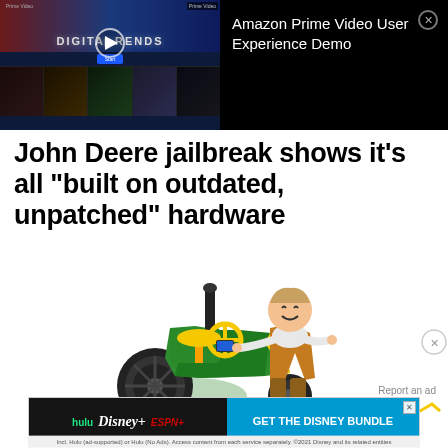[Figure (screenshot): Amazon Prime Video streaming interface video ad overlay showing Digital Trends branded content with a play button, thumbnail grid of shows, and the label 'Amazon Prime Video User Experience Demo' with a close button.]
John Deere jailbreak shows it's all "built on outdated, unpatched" hardware
[Figure (photo): A small child sitting on a John Deere toy electric tractor/ride-on vehicle, green and yellow colored, on a white background.]
Report an ad
[Figure (screenshot): Disney Bundle advertisement: hulu, Disney+, ESPN+ logos on dark background with blue 'GET THE DISNEY BUNDLE' call-to-action button. Fine print reads: Incl. Hulu (ad-supported) or Hulu (No Ads). Access content from each service separately. ©2021 Disney and its related entities]